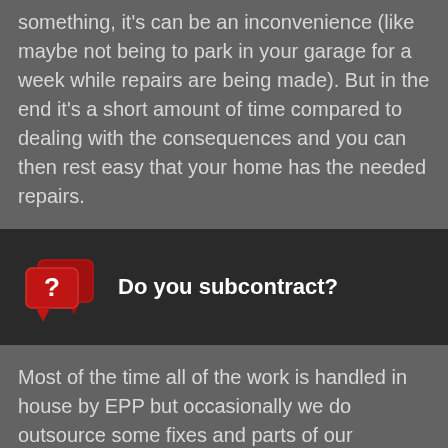something, it's can be an inconvenience (like maybe not being to park in your garage for a week while repairs are being made). But in the end it's a short amount of time compared to dealing with the consequences and you can then rest easy that your home has the needed repairs.
Do you subcontract?
Most of the time all of the work is handled in house by EPP but occasionally we do outsource some fixes and parts of our services to our specialist network for projects like: